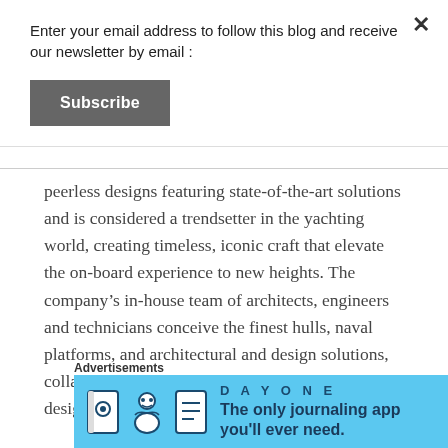Enter your email address to follow this blog and receive our newsletter by email :
Subscribe
peerless designs featuring state-of-the-art solutions and is considered a trendsetter in the yachting world, creating timeless, iconic craft that elevate the on-board experience to new heights. The company’s in-house team of architects, engineers and technicians conceive the finest hulls, naval platforms, and architectural and design solutions, collaborating with celebrated international designers on the
Advertisements
[Figure (illustration): Day One app advertisement banner with blue background, showing app icons and the text 'DAY ONE' and 'The only journaling app you’ll ever need.']